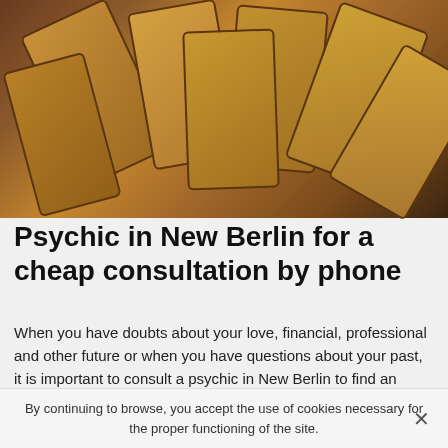[Figure (photo): Spread of weathered brown tarot cards with occult imagery on a dark wooden surface]
Psychic in New Berlin for a cheap consultation by phone
When you have doubts about your love, financial, professional and other future or when you have questions about your past, it is important to consult a psychic in New Berlin to find an answer. In fact, I can assure you that it doesn't matter what answers you get because they will really help you move forward and make the best possible decisions for your future life. I became a psychic medium in Milwaukee just to help people who are always asking questions but can't find the answer to their questions. In
By continuing to browse, you accept the use of cookies necessary for the proper functioning of the site.